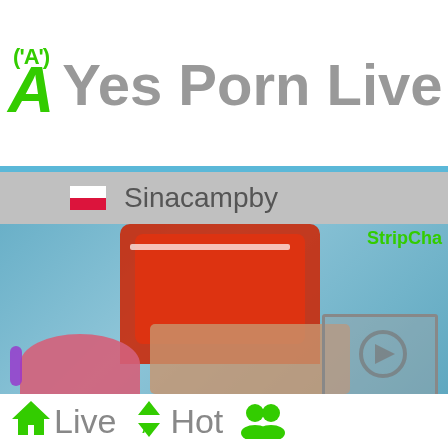'A' Yes Porn Live
[Figure (screenshot): Webcam stream thumbnail showing streamer 'Sinacampby' with Polish flag, StripChat watermark, person in red jacket over another person with pink hair on blue background]
Live Hot (navigation bar with home, sort, and group icons)